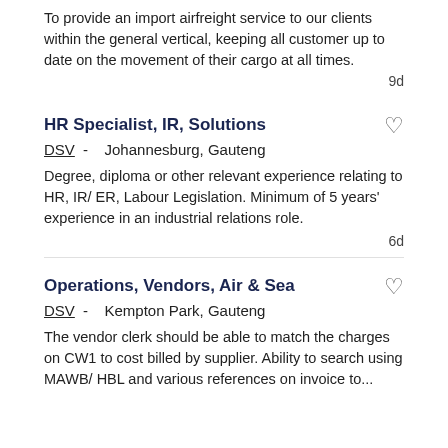To provide an import airfreight service to our clients within the general vertical, keeping all customer up to date on the movement of their cargo at all times.
9d
HR Specialist, IR, Solutions
DSV -  Johannesburg, Gauteng
Degree, diploma or other relevant experience relating to HR, IR/ ER, Labour Legislation. Minimum of 5 years' experience in an industrial relations role.
6d
Operations, Vendors, Air & Sea
DSV -  Kempton Park, Gauteng
The vendor clerk should be able to match the charges on CW1 to cost billed by supplier. Ability to search using MAWB/ HBL and various references on invoice to...